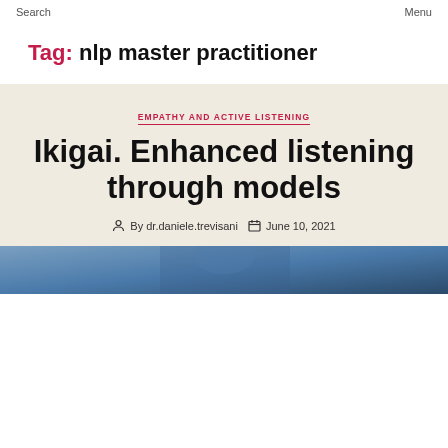Search    Menu
Tag: nlp master practitioner
EMPATHY AND ACTIVE LISTENING
Ikigai. Enhanced listening through models
By dr.daniele.trevisani   June 10, 2021
[Figure (photo): Photo of a person in a suit, bottom strip visible]